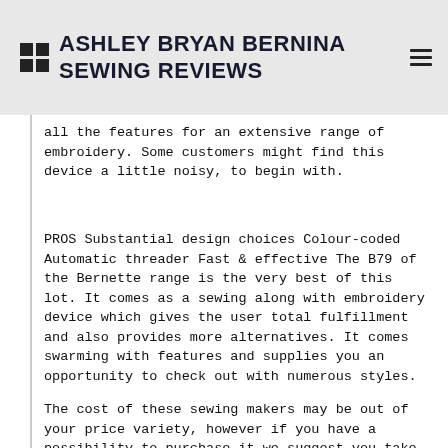ASHLEY BRYAN BERNINA SEWING REVIEWS
all the features for an extensive range of embroidery. Some customers might find this device a little noisy, to begin with.
PROS Substantial design choices Colour-coded Automatic threader Fast & effective The B79 of the Bernette range is the very best of this lot. It comes as a sewing along with embroidery device which gives the user total fulfillment and also provides more alternatives. It comes swarming with features and supplies you an opportunity to check out with numerous styles.
The cost of these sewing makers may be out of your price variety, however if you have a possibility to purchase it we suggest you take it. These devices are well developed and built by the last family-owned sewing maker firm in the world. Once again the effort required to produce these devices, in addition to the innovation, makes it worth every cent to own